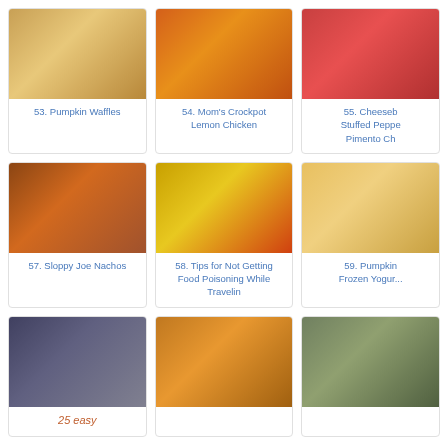[Figure (photo): Pumpkin waffles stacked on a plate]
53. Pumpkin Waffles
[Figure (photo): Mom's Crockpot Lemon Chicken]
54. Mom's Crockpot Lemon Chicken
[Figure (photo): Cheeseburger Stuffed Peppers with Pimento Cheese]
55. Cheeseburger Stuffed Peppers Pimento Ch...
[Figure (photo): Sloppy Joe Nachos on a platter with red checkered tablecloth]
57. Sloppy Joe Nachos
[Figure (photo): Tips for Not Getting Food Poisoning While Traveling - colorful Indian food spread]
58. Tips for Not Getting Food Poisoning While Travelin
[Figure (photo): Pumpkin Frozen Yogurt bars]
59. Pumpkin Frozen Yogur...
[Figure (photo): 25 easy snacks - cookies on plates]
[Figure (photo): Pumpkin drink with latte in mug]
[Figure (photo): Cookies or baked goods]